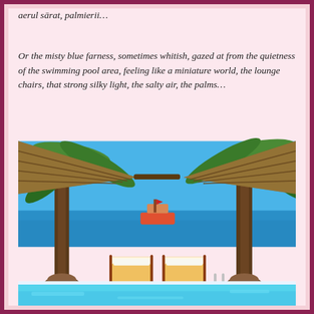aerul sārat, palmierii…
Or the misty blue farness, sometimes whitish, gazed at from the quietness of the swimming pool area, feeling like a miniature world, the lounge chairs, that strong silky light, the salty air, the palms…
[Figure (photo): A pool area with palm trees, thatched shade structures, lounge chairs with white cushions, blue sea in background with a boat, and a bright blue swimming pool in the foreground.]